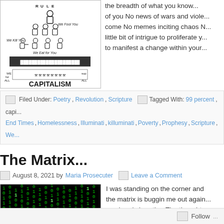[Figure (illustration): Pyramid diagram labeled CAPITALISM showing social hierarchy with figures at different levels: rulers at top, then 'We Fool You', 'We Kill You', 'We Eat for You', and workers at bottom labeled 'We work for ALL / We eat for ALL']
the breadth of what you know... of you No news of wars and violence come No memes inciting chaos N little bit of intrigue to proliferate y to manifest a change within your
Filed Under: Poetry, Revolution, Scripture   Tagged With: 99 percent, capi... End Times, Homelessness, Illuminati, killuminati, Poverty, Prophesy, Scripture, We...
The Matrix...
August 8, 2021 by Maria Prosecuter   Leave a Comment
[Figure (photo): Matrix-style green digital rain falling code on black background]
I was standing on the corner and the matrix is buggin me out again can barely breathe. The thought
Follow